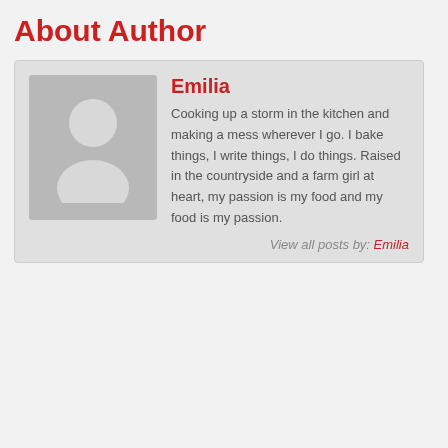About Author
Emilia
Cooking up a storm in the kitchen and making a mess wherever I go. I bake things, I write things, I do things. Raised in the countryside and a farm girl at heart, my passion is my food and my food is my passion.
View all posts by: Emilia
[Figure (illustration): Colorful retro flat design graphic with circles and geometric shapes in green, orange, teal, and cream colors]
Welcome to Chaos Bakery!
[Figure (screenshot): YouTube video embed showing 'Welcome to Chaosb...' with orange C icon and three-dot menu]
[Figure (illustration): Decorative coffee cup illustration in orange tones on cream background]